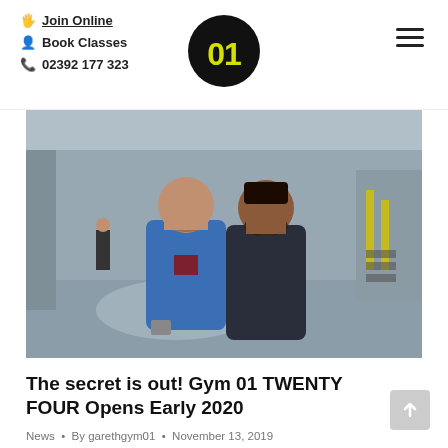Join Online | Book Classes | 02392 177 323
[Figure (photo): Two men standing in a large empty industrial space, posing for a photo. One wears a blue puffer jacket, the other a dark quilted jacket. A third person is visible in the background near a wall.]
The secret is out! Gym 01 TWENTY FOUR Opens Early 2020
News • By garethgym01 • November 13, 2019
We've got a huge announcement… we have secured the unit next to our current premises and will be extending our already